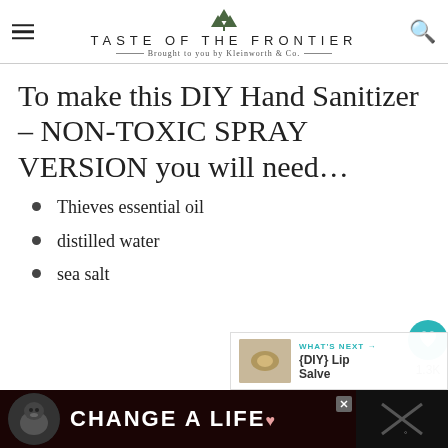TASTE OF THE FRONTIER — Brought to you by Kleinworth & Co.
To make this DIY Hand Sanitizer – NON-TOXIC SPRAY VERSION you will need…
Thieves essential oil
distilled water
sea salt
[Figure (other): WHAT'S NEXT banner with {DIY} Lip Salve thumbnail]
[Figure (other): Advertisement banner: CHANGE A LIFE with black dog image]